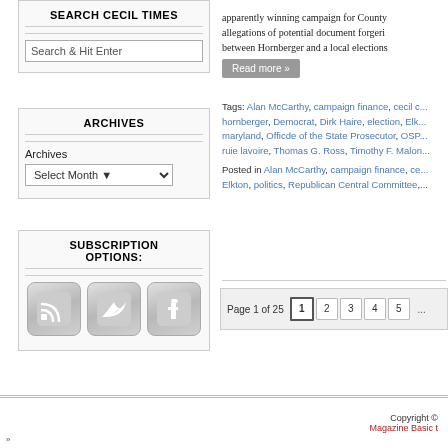SEARCH CECIL TIMES
Search & Hit Enter
ARCHIVES
Archives
SUBSCRIPTION OPTIONS:
apparently winning campaign for County... allegations of potential document forgeri... between Hornberger and a local elections...
Read more »
Tags: Alan McCarthy, campaign finance, cecil c... hornberger, Democrat, Dirk Haire, election, Elk... maryland, Officde of the State Prosecutor, OSP... ruie lavoire, Thomas G. Ross, Timothy F. Malon... Posted in Alan McCarthy, campaign finance, ce... Elkton, politics, Republican Central Committee,...
Page 1 of 25  1  2  3  4  5  ...
Copyright © Magazine Basic t